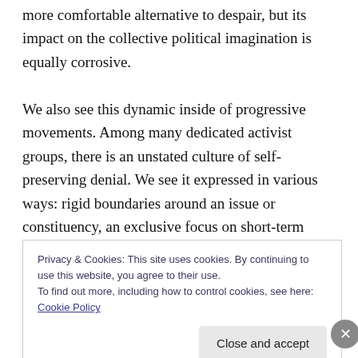more comfortable alternative to despair, but its impact on the collective political imagination is equally corrosive.

We also see this dynamic inside of progressive movements. Among many dedicated activist groups, there is an unstated culture of self-preserving denial. We see it expressed in various ways: rigid boundaries around an issue or constituency, an exclusive focus on short-term “wins,” and a suspension of disbelief about the limits of current strategies to face the crisis. The underlying assumption is that if we just keep doing what we’ve been
Privacy & Cookies: This site uses cookies. By continuing to use this website, you agree to their use.
To find out more, including how to control cookies, see here: Cookie Policy
Close and accept
Advertisements